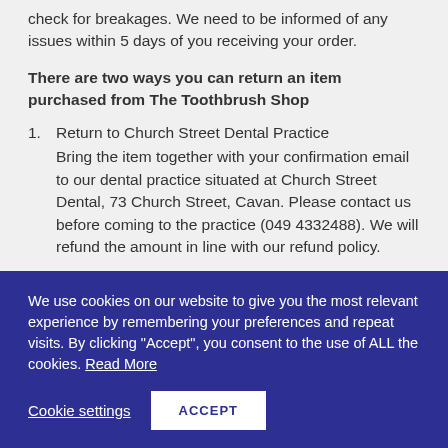check for breakages. We need to be informed of any issues within 5 days of you receiving your order.
There are two ways you can return an item purchased from The Toothbrush Shop
1. Return to Church Street Dental Practice
Bring the item together with your confirmation email to our dental practice situated at Church Street Dental, 73 Church Street, Cavan. Please contact us before coming to the practice (049 4332488). We will refund the amount in line with our refund policy.
We use cookies on our website to give you the most relevant experience by remembering your preferences and repeat visits. By clicking "Accept", you consent to the use of ALL the cookies. Read More
Cookie settings   ACCEPT